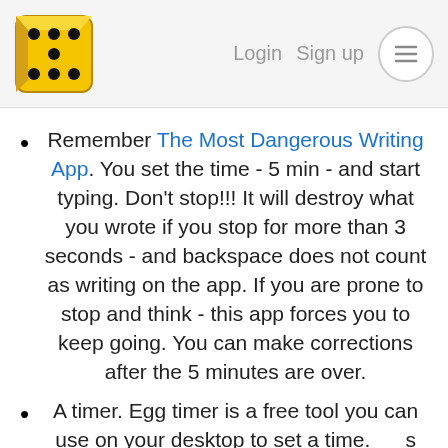Login  Sign up
Remember The Most Dangerous Writing App. You set the time - 5 min - and start typing. Don't stop!!! It will destroy what you wrote if you stop for more than 3 seconds - and backspace does not count as writing on the app. If you are prone to stop and think - this app forces you to keep going. You can make corrections after the 5 minutes are over.
A timer. Egg timer is a free tool you can use on your desktop to set a time. It is useful for our freewrites or if you want to work in blocks of time and then take a break. Here is the link